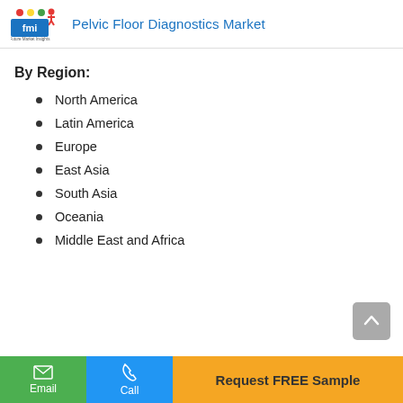Pelvic Floor Diagnostics Market
By Region:
North America
Latin America
Europe
East Asia
South Asia
Oceania
Middle East and Africa
Email | Call | Request FREE Sample